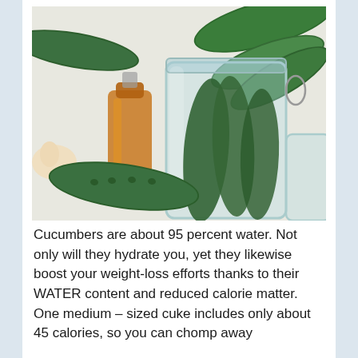[Figure (photo): Photo of cucumbers, a glass jar with cucumbers inside, and a bottle of apple cider vinegar on a white surface.]
Cucumbers are about 95 percent water. Not only will they hydrate you, yet they likewise boost your weight-loss efforts thanks to their WATER content and reduced calorie matter. One medium – sized cuke includes only about 45 calories, so you can chomp away